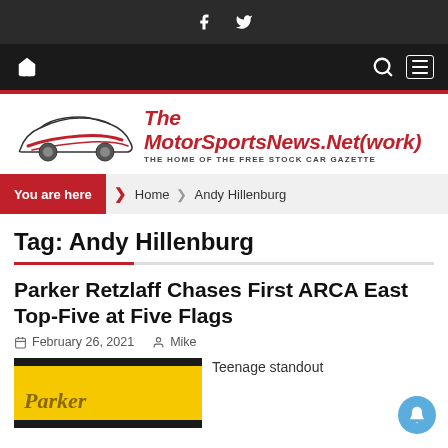f (Facebook icon) y (Twitter icon)
Home icon | Search icon | Menu icon
[Figure (logo): The MotorSportsNews.Net(work) logo with stylized car silhouette and tagline THE HOME OF THE FREE STOCK CAR GAZETTE]
You are here > Home > Andy Hillenburg
Tag: Andy Hillenburg
Parker Retzlaff Chases First ARCA East Top-Five at Five Flags
February 26, 2021  Mike
Teenage standout